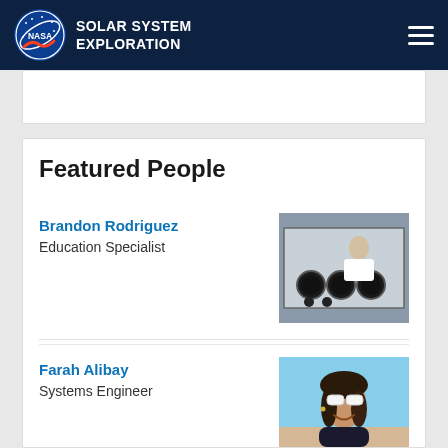NASA SOLAR SYSTEM EXPLORATION
Featured People
Brandon Rodriguez
Education Specialist
[Figure (photo): A man in a white lab coat standing behind a glove box with multiple circular ports in a laboratory setting]
Farah Alibay
Systems Engineer
[Figure (photo): A smiling young woman with sunglasses on her head, outdoors at a beach or coastal area]